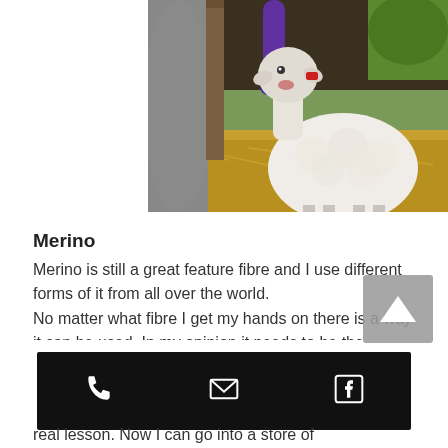[Figure (photo): A sheep looking up at a person whose arm (in purple sleeve) reaches toward it, in a farm setting with hay and wooden post, another animal visible on the left]
Merino
Merino is still a great feature fibre and I use different forms of it from all over the world.
No matter what fibre I get my hands on there is a way it can be used. In my opinion it needs to be the driving force for artistic growth in this field. I found the search for the right fibre a long and very educational one however in
[Figure (infographic): Mobile website footer toolbar with black background containing three icons: phone, email (envelope), and Facebook]
real lesson. Now I can go into a store of